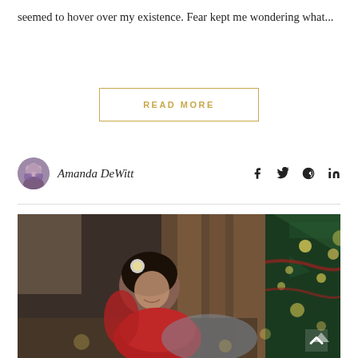seemed to hover over my existence. Fear kept me wondering what...
READ MORE
Amanda DeWitt
[Figure (photo): A young girl in a red sweater sitting near a decorated Christmas tree with warm bokeh lights in the background]
[Figure (illustration): Scroll up arrow button overlay on photo]